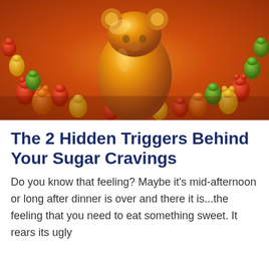[Figure (photo): Close-up photograph of colorful gummy bears piled together, with one large orange gummy bear prominently in the center foreground surrounded by many smaller red, yellow, green, and orange gummy bears.]
The 2 Hidden Triggers Behind Your Sugar Cravings
Do you know that feeling? Maybe it's mid-afternoon or long after dinner is over and there it is...the feeling that you need to eat something sweet. It rears its ugly